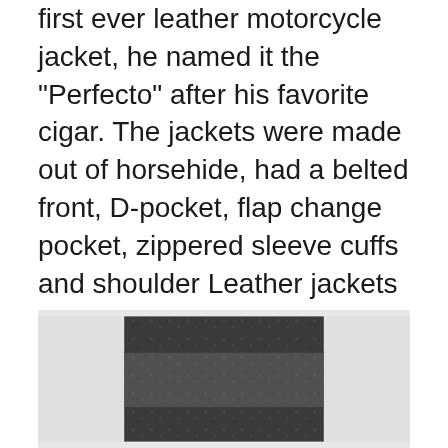first ever leather motorcycle jacket, he named it the "Perfecto" after his favorite cigar. The jackets were made out of horsehide, had a belted front, D-pocket, flap change pocket, zippered sleeve cuffs and shoulder Leather jackets advance one's overall look big time from the usual day-to-day or the prim-and-proper look. Schott has been in the industry for more than a century, creating high-quality leather jackets, tees, pants, sweaters, boots, and so much more for both men and women. Discover Schott NYC® items on our online store ! Perfecto®, Jackets, Puffers, Leathers, Bombers, Sweatshirts, Polos, T-shirts, Pants & Shorts.
[Figure (photo): A partially visible photograph at the bottom of the page showing what appears to be a dark outdoor scene.]